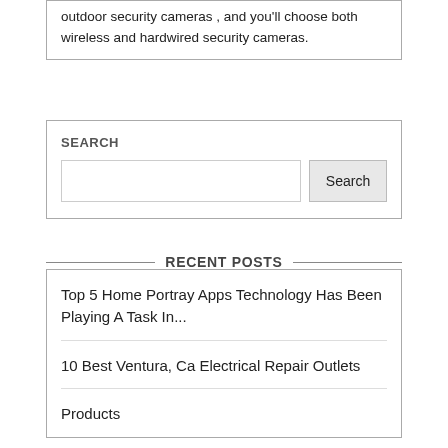outdoor security cameras , and you'll choose both wireless and hardwired security cameras.
SEARCH
Search
RECENT POSTS
Top 5 Home Portray Apps Technology Has Been Playing A Task In...
10 Best Ventura, Ca Electrical Repair Outlets
Products